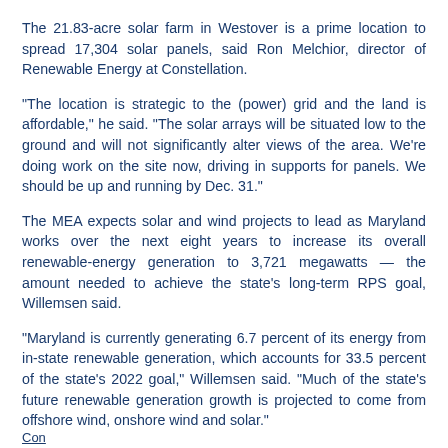The 21.83-acre solar farm in Westover is a prime location to spread 17,304 solar panels, said Ron Melchior, director of Renewable Energy at Constellation.
"The location is strategic to the (power) grid and the land is affordable," he said. "The solar arrays will be situated low to the ground and will not significantly alter views of the area. We're doing work on the site now, driving in supports for panels. We should be up and running by Dec. 31."
The MEA expects solar and wind projects to lead as Maryland works over the next eight years to increase its overall renewable-energy generation to 3,721 megawatts — the amount needed to achieve the state's long-term RPS goal, Willemsen said.
"Maryland is currently generating 6.7 percent of its energy from in-state renewable generation, which accounts for 33.5 percent of the state's 2022 goal," Willemsen said. "Much of the state's future renewable generation growth is projected to come from offshore wind, onshore wind and solar."